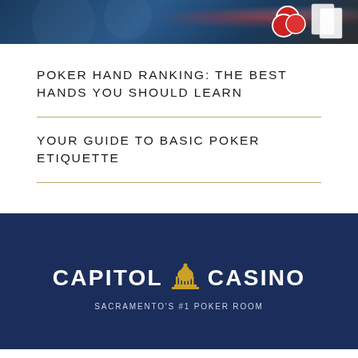[Figure (photo): Cropped photo showing a poker scene with dark blurred background, red poker chips and playing cards visible on the right side, person in background]
POKER HAND RANKING: THE BEST HANDS YOU SHOULD LEARN
YOUR GUIDE TO BASIC POKER ETIQUETTE
[Figure (logo): Capitol Casino Sacramento's #1 Poker Room logo — white serif text CAPITOL CASINO with a gold capitol dome icon in between, on dark navy background]